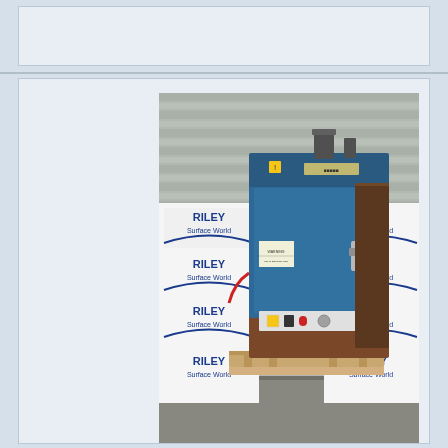[Figure (photo): Industrial oven or curing oven, blue metal cabinet with door and control panel at the bottom, sitting on a wooden pallet. Background shows Riley Surface World branded banners/backdrops on both sides.]